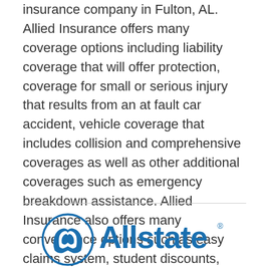insurance company in Fulton, AL. Allied Insurance offers many coverage options including liability coverage that will offer protection, coverage for small or serious injury that results from an at fault car accident, vehicle coverage that includes collision and comprehensive coverages as well as other additional coverages such as emergency breakdown assistance. Allied Insurance also offers many convenience options such as easy claims system, student discounts, safe driver discount and more.
[Figure (logo): Allstate insurance logo with blue hands icon and blue 'Allstate' wordmark]